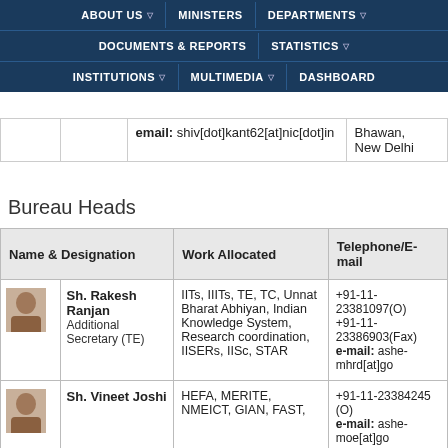ABOUT US | MINISTERS | DEPARTMENTS | DOCUMENTS & REPORTS | STATISTICS | INSTITUTIONS | MULTIMEDIA | DASHBOARD
|  |  | Telephone/E-mail |  |
| --- | --- | --- | --- |
|  |  | email: shiv[dot]kant62[at]nic[dot]in | Bhawan, New Delhi |
Bureau Heads
| Name & Designation | Work Allocated | Telephone/E-mail |
| --- | --- | --- |
| Sh. Rakesh Ranjan
Additional Secretary (TE) | IITs, IIITs, TE, TC, Unnat Bharat Abhiyan, Indian Knowledge System, Research coordination, IISERs, IISc, STAR | +91-11-23381097(O)
+91-11-23386903(Fax)
e-mail: ashe-mhrd[at]go |
| Sh. Vineet Joshi | HEFA, MERITE, NMEICT, GIAN, FAST, | +91-11-23384245 (O)
e-mail: ashe-moe[at]go |